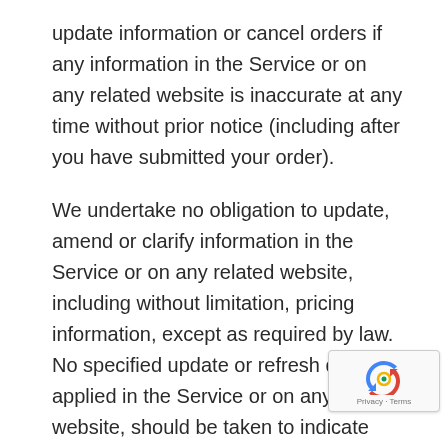update information or cancel orders if any information in the Service or on any related website is inaccurate at any time without prior notice (including after you have submitted your order).
We undertake no obligation to update, amend or clarify information in the Service or on any related website, including without limitation, pricing information, except as required by law. No specified update or refresh date applied in the Service or on any related website, should be taken to indicate that all information in the Service or on any related website has been modified or updated.
SECTION 12 – PROHIBITED USES